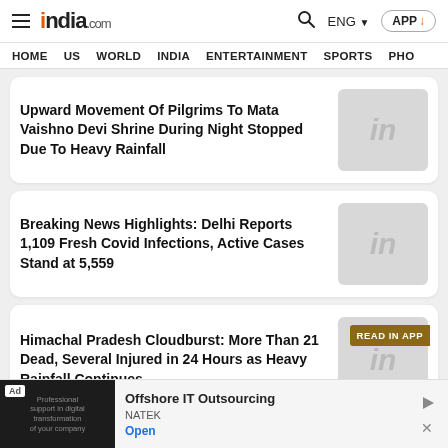india.com — ENG — APP
HOME  US  WORLD  INDIA  ENTERTAINMENT  SPORTS  PHO
Upward Movement Of Pilgrims To Mata Vaishno Devi Shrine During Night Stopped Due To Heavy Rainfall
Breaking News Highlights: Delhi Reports 1,109 Fresh Covid Infections, Active Cases Stand at 5,559
Himachal Pradesh Cloudburst: More Than 21 Dead, Several Injured in 24 Hours as Heavy Rainfall Continues
Ad — Offshore IT Outsourcing — NATEK — Open